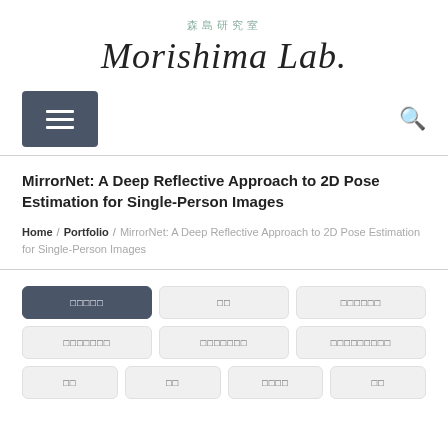森島研究室 / Morishima Lab.
MirrorNet: A Deep Reflective Approach to 2D Pose Estimation for Single-Person Images
Home / Portfolio / MirrorNet: A Deep Reflective Approach to 2D Pose Estimation for Single-Person Images
□□□□□
□□
□□□□□□
□□□□□□□
□□□□□□□
□□□□□□□□□
□□
□□
□□□□
□□